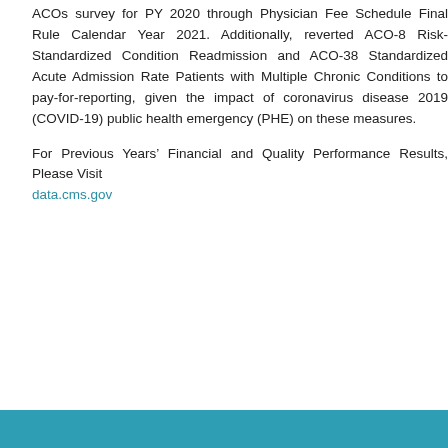ACOs survey for PY 2020 through Physician Fee Schedule Final Rule Calendar Year 2021. Additionally, reverted ACO-8 Risk-Standardized Condition Readmission and ACO-38 Standardized Acute Admission Rate Patients with Multiple Chronic Conditions to pay-for-reporting, given the impact of coronavirus disease 2019 (COVID-19) public health emergency (PHE) on these measures.
For Previous Years' Financial and Quality Performance Results, Please Visit data.cms.gov